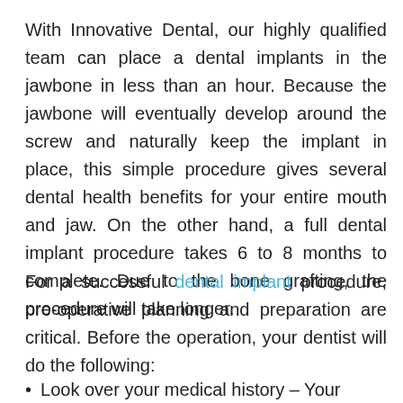With Innovative Dental, our highly qualified team can place a dental implants in the jawbone in less than an hour. Because the jawbone will eventually develop around the screw and naturally keep the implant in place, this simple procedure gives several dental health benefits for your entire mouth and jaw. On the other hand, a full dental implant procedure takes 6 to 8 months to complete. Due to the bone grafting, the procedure will take longer.
For a successful dental implant procedure, pre-operative planning and preparation are critical. Before the operation, your dentist will do the following:
Look over your medical history – Your dental